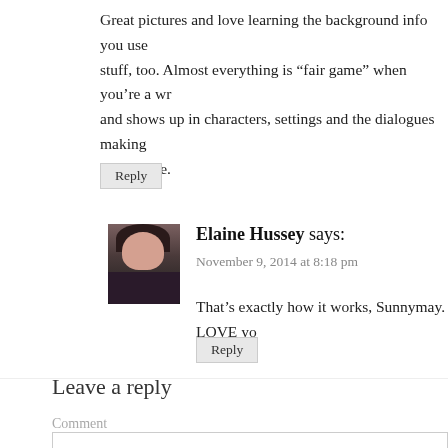Great pictures and love learning the background info you use stuff, too. Almost everything is “fair game” when you’re a wr and shows up in characters, settings and the dialogues making experience.
Reply
Elaine Hussey says:
November 9, 2014 at 8:18 pm
That’s exactly how it works, Sunnymay. LOVE yo
Reply
Leave a reply
Comment